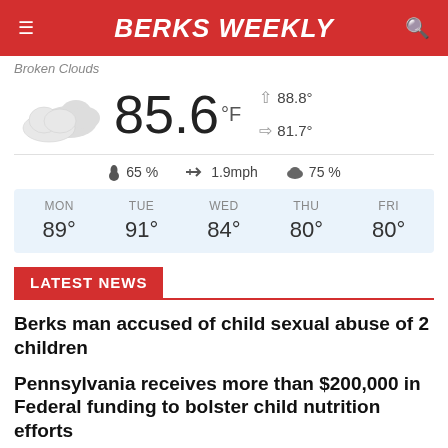BERKS WEEKLY
Broken Clouds
[Figure (infographic): Weather widget showing broken clouds icon, temperature 85.6°F, high 88.8°, low 81.7°, humidity 65%, wind 1.9mph, cloud cover 75%, and 5-day forecast: MON 89°, TUE 91°, WED 84°, THU 80°, FRI 80°]
LATEST NEWS
Berks man accused of child sexual abuse of 2 children
Pennsylvania receives more than $200,000 in Federal funding to bolster child nutrition efforts